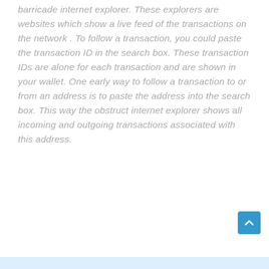barricade internet explorer. These explorers are websites which show a live feed of the transactions on the network . To follow a transaction, you could paste the transaction ID in the search box. These transaction IDs are alone for each transaction and are shown in your wallet. One early way to follow a transaction to or from an address is to paste the address into the search box. This way the obstruct internet explorer shows all incoming and outgoing transactions associated with this address.